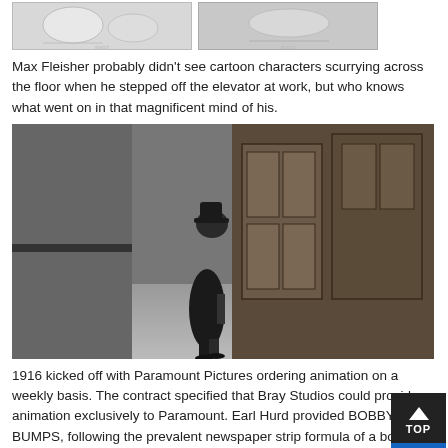[Figure (photo): Two cartoon sketch images side by side at top of page]
Max Fleisher probably didn't see cartoon characters scurrying across the floor when he stepped off the elevator at work, but who knows what went on in that magnificent mind of his.
[Figure (photo): Black and white photograph of a man in a hat and suit standing in a hallway with ornate wooden doors]
1916 kicked off with Paramount Pictures ordering animation on a weekly basis. The contract specified that Bray Studios could provide animation exclusively to Paramount. Earl Hurd provided BOBBY BUMPS, following the prevalent newspaper strip formula of a boy and his dog.